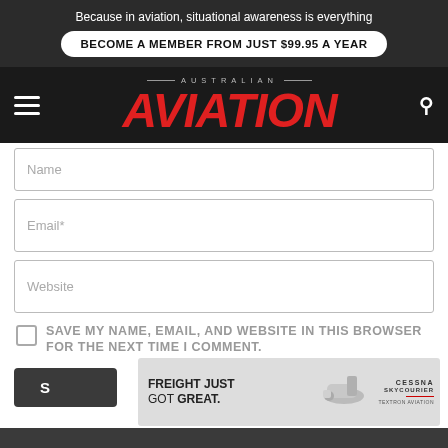Because in aviation, situational awareness is everything
BECOME A MEMBER FROM JUST $99.95 A YEAR
[Figure (logo): Australian Aviation magazine logo with red italic AVIATION text and AUSTRALIAN subtitle]
Name
Email*
Website
SAVE MY NAME, EMAIL, AND WEBSITE IN THIS BROWSER FOR THE NEXT TIME I COMMENT.
[Figure (infographic): Cessna SkyCourier advertisement: FREIGHT JUST GOT GREAT. with aircraft image and Cessna SkyCourier logo]